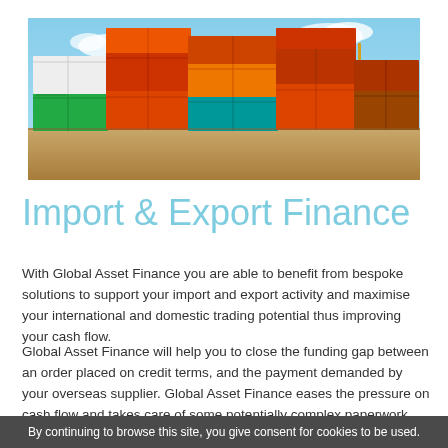[Figure (photo): Colorful stacked shipping containers at a port with a crane in the background and blue sky.]
Import & Export Finance
With Global Asset Finance you are able to benefit from bespoke solutions to support your import and export activity and maximise your international and domestic trading potential thus improving your cash flow.
Global Asset Finance will help you to close the funding gap between an order placed on credit terms, and the payment demanded by your overseas supplier. Global Asset Finance eases the pressure on cash flow and takes care of some potentially complex paperwork and procedures. With Trade Finance, we can fund up to 100% of your overseas purchases, including freight, duty and VAT, all the way to the
By continuing to browse this site, you give consent for cookies to be used.